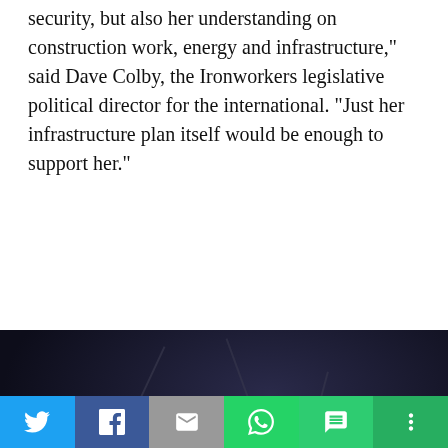security, but also her understanding on construction work, energy and infrastructure," said Dave Colby, the Ironworkers legislative political director for the international. "Just her infrastructure plan itself would be enough to support her."
[Figure (photo): Dark interior photo showing what appears to be a construction or warehouse space with dark ceiling beams/trusses and a wooden post or pillar in the center-right of the frame. The lower portion shows a grey concrete or metal floor area.]